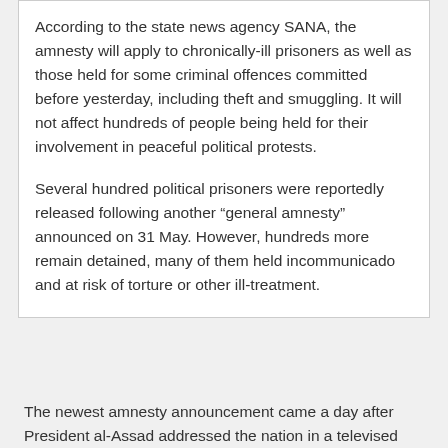According to the state news agency SANA, the amnesty will apply to chronically-ill prisoners as well as those held for some criminal offences committed before yesterday, including theft and smuggling. It will not affect hundreds of people being held for their involvement in peaceful political protests.

Several hundred political prisoners were reportedly released following another “general amnesty” announced on 31 May. However, hundreds more remain detained, many of them held incommunicado and at risk of torture or other ill-treatment.
The newest amnesty announcement came a day after President al-Assad addressed the nation in a televised speech, in which he said calls for reform were legitimate but also blamed armed “saboteurs” for causing the recent unrest.